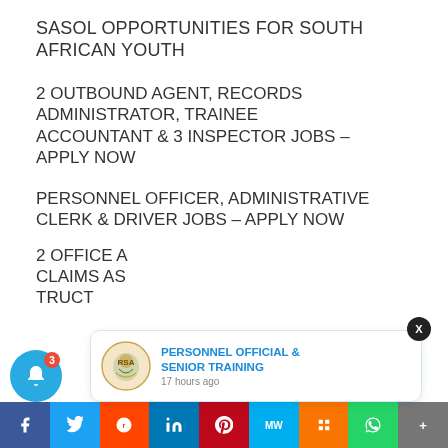SASOL OPPORTUNITIES FOR SOUTH AFRICAN YOUTH
2 OUTBOUND AGENT, RECORDS ADMINISTRATOR, TRAINEE ACCOUNTANT & 3 INSPECTOR JOBS – APPLY NOW
PERSONNEL OFFICER, ADMINISTRATIVE CLERK & DRIVER JOBS – APPLY NOW
2 OFFICE ADMIN... CLAIMS AS... TRUCT...
[Figure (infographic): Popup notification card showing South African coat of arms logo with text 'PERSONNEL OFFICIAL & SENIOR TRAINING' and '17 hours ago']
[Figure (infographic): Social sharing bar at bottom with Facebook, Twitter, Reddit, LinkedIn, Pinterest, MeWe, Mix, WhatsApp, More buttons]